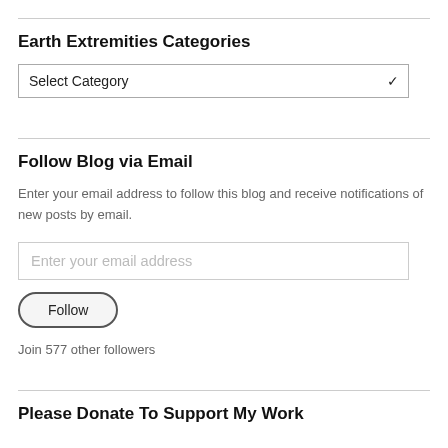Earth Extremities Categories
Select Category
Follow Blog via Email
Enter your email address to follow this blog and receive notifications of new posts by email.
Enter your email address
Follow
Join 577 other followers
Please Donate To Support My Work